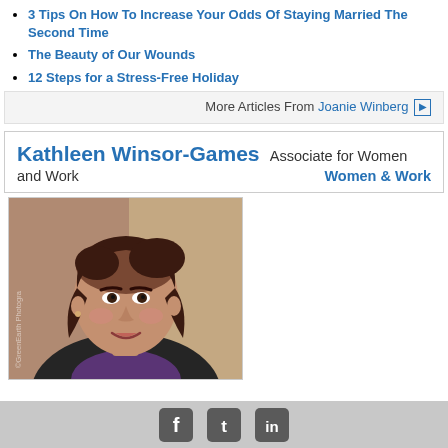3 Tips On How To Increase Your Odds Of Staying Married The Second Time
The Beauty of Our Wounds
12 Steps for a Stress-Free Holiday
More Articles From Joanie Winberg ▶
Kathleen Winsor-Games Associate for Women and Work   Women & Work
[Figure (photo): Portrait photo of Kathleen Winsor-Games, a woman with dark short hair wearing a black jacket and purple top, with watermark 'GreenEarth Photogra']
Facebook, Twitter, LinkedIn social media icons